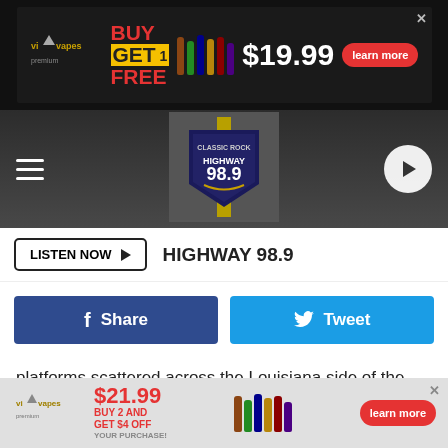[Figure (screenshot): Top advertisement banner: VIP Vapes - BUY 1 GET 1 FREE $19.99 learn more]
HIGHWAY 98.9 / CLASSIC ROCK - navigation bar with hamburger menu, station logo, and play button
[Figure (screenshot): LISTEN NOW button with HIGHWAY 98.9 label]
[Figure (screenshot): Social share buttons: f Share (Facebook blue) and Tweet (Twitter blue)]
platforms scattered across the Louisiana side of the border lake were living monuments to the humble beginnings of offshore oil drilling, but until Doc put it in print, there was no way to prove it.
If You Google "First Offshore Oil Well" You Won't See Caddo Lake
[Figure (screenshot): Bottom advertisement banner: VIP Vapes $21.99 BUY 2 AND GET $4 OFF YOUR PURCHASE! learn more]